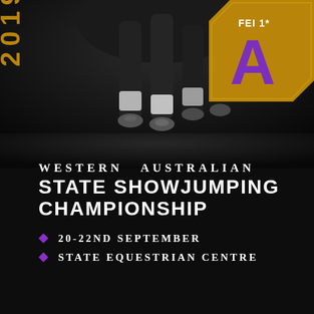[Figure (photo): Black and white photograph of horse hooves with leg wraps, taken from below. Dark atmospheric background. Event poster imagery.]
2019 LOCK
[Figure (logo): FEI badge/logo in gold with purple lettering, positioned in top-right corner]
Western Australian
State ShowJumping Championship
20-22nd September
State Equestrian Centre